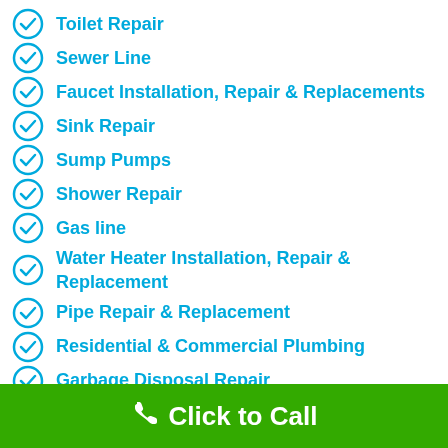Toilet Repair
Sewer Line
Faucet Installation, Repair & Replacements
Sink Repair
Sump Pumps
Shower Repair
Gas line
Water Heater Installation, Repair & Replacement
Pipe Repair & Replacement
Residential & Commercial Plumbing
Garbage Disposal Repair
Click to Call